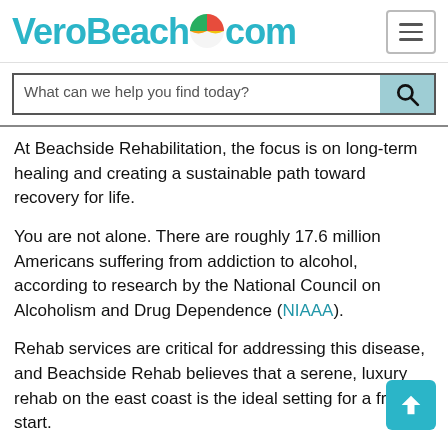VeroBeach.com
What can we help you find today?
At Beachside Rehabilitation, the focus is on long-term healing and creating a sustainable path toward recovery for life.
You are not alone. There are roughly 17.6 million Americans suffering from addiction to alcohol, according to research by the National Council on Alcoholism and Drug Dependence (NIAAA).
Rehab services are critical for addressing this disease, and Beachside Rehab believes that a serene, luxury rehab on the east coast is the ideal setting for a fresh start.
You can live a sober, happy life. And getting there can be an individualized, intimate experience that is tailored to you...This is the philosophy at Beachside...